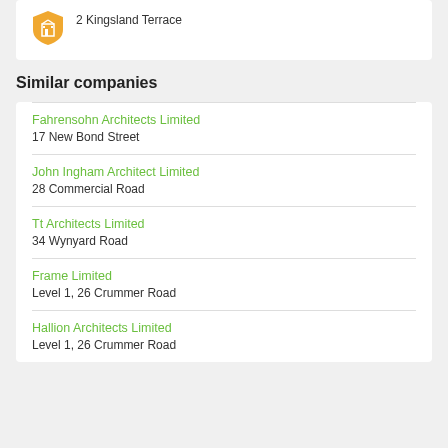2 Kingsland Terrace
Similar companies
Fahrensohn Architects Limited
17 New Bond Street
John Ingham Architect Limited
28 Commercial Road
Tt Architects Limited
34 Wynyard Road
Frame Limited
Level 1, 26 Crummer Road
Hallion Architects Limited
Level 1, 26 Crummer Road